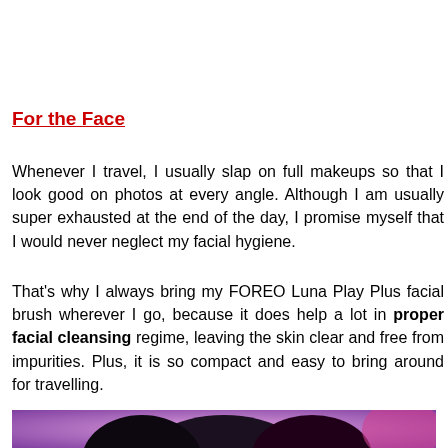For the Face
Whenever I travel, I usually slap on full makeups so that I look good on photos at every angle. Although I am usually super exhausted at the end of the day, I promise myself that I would never neglect my facial hygiene.
That's why I always bring my FOREO Luna Play Plus facial brush wherever I go, because it does help a lot in proper facial cleansing regime, leaving the skin clear and free from impurities. Plus, it is so compact and easy to bring around for travelling.
[Figure (photo): Bottom portion of a photo showing a person with dark hair against a purple/pink background, partially cropped at the bottom of the page.]